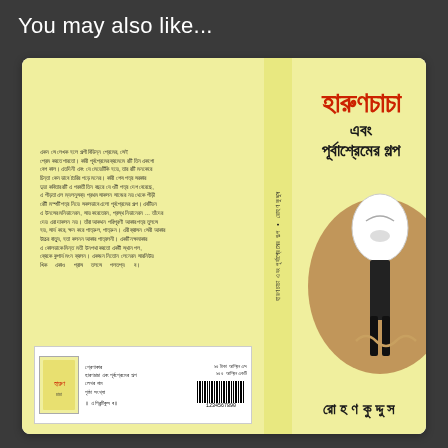You may also like...
[Figure (illustration): Bengali book cover for 'Harun Chacha ebong Purbapremer Galpo' by Rohan Quddus. Shows front cover with Bengali title in red and black, an illustration of a ghostly tall figure in brown tones, and author name at bottom. Back cover has Bengali text description. Spine shows title text vertically. Bottom of back cover has barcode and publisher info.]